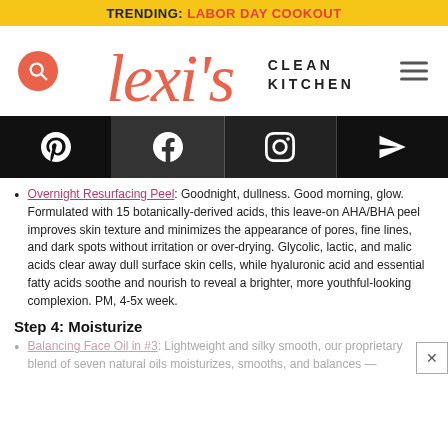TRENDING: LABOR DAY COOKOUT
[Figure (logo): Lexi's Clean Kitchen logo with search button (orange circle with magnifying glass) on left, script 'lexi's' text in orange with 'CLEAN KITCHEN' text in bold sans-serif, hamburger menu on right]
[Figure (infographic): Social media icon bar with Pinterest, Facebook, Instagram, and direct message/email icons on black/dark gray background]
Overnight Resurfacing Peel: Goodnight, dullness. Good morning, glow. Formulated with 15 botanically-derived acids, this leave-on AHA/BHA peel improves skin texture and minimizes the appearance of pores, fine lines, and dark spots without irritation or over-drying. Glycolic, lactic, and malic acids clear away dull surface skin cells, while hyaluronic acid and essential fatty acids soothe and nourish to reveal a brighter, more youthful-looking complexion. PM, 4-5x week.
Step 4: Moisturize
Balancing Face Oil in #3: Lightweight and silky smooth, our proprietary blend of seven natural oils moisturizes, smooths, and balances — (text cut off)